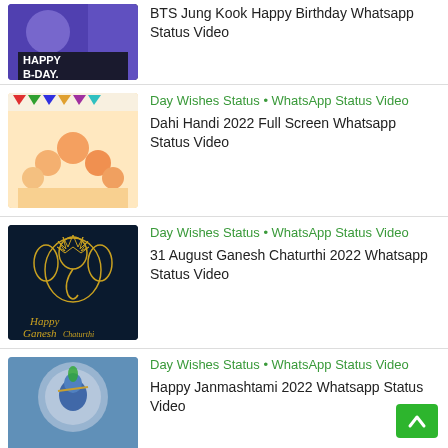BTS Jung Kook Happy Birthday Whatsapp Status Video
Day Wishes Status • WhatsApp Status Video
Dahi Handi 2022 Full Screen Whatsapp Status Video
Day Wishes Status • WhatsApp Status Video
31 August Ganesh Chaturthi 2022 Whatsapp Status Video
Day Wishes Status • WhatsApp Status Video
Happy Janmashtami 2022 Whatsapp Status Video
Day Wishes Status • WhatsApp Status Video
Lord Shri Krishna Janmashtami Whatsapp Status Video